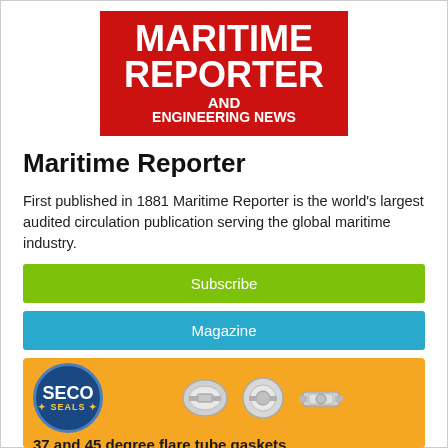[Figure (logo): Maritime Reporter and Engineering News red logo with white bold text on red background]
Maritime Reporter
First published in 1881 Maritime Reporter is the world's largest audited circulation publication serving the global maritime industry.
Subscribe
Magazine
[Figure (illustration): SECO Seals advertisement on orange background showing the SECO Seals oval logo and three metal tube fittings/gaskets]
37 and 45 degree flare tube gaskets